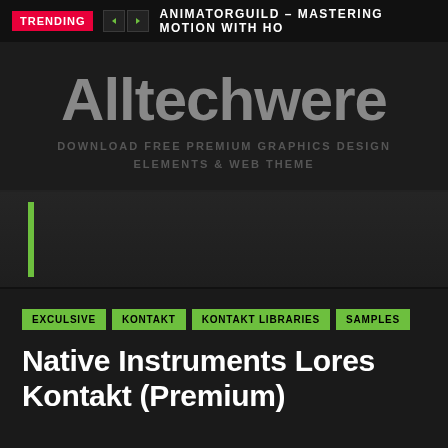TRENDING  ANIMATORGUILD – MASTERING MOTION WITH HO
Alltechwere
DOWNLOAD FREE PREMIUM GRAPHICS DESIGN ELEMENTS & WEB THEME
[Figure (screenshot): Dark decorative band with green vertical bar accent on the left]
EXCULSIVE
KONTAKT
KONTAKT LIBRARIES
SAMPLES
Native Instruments Lores Kontakt (Premium)